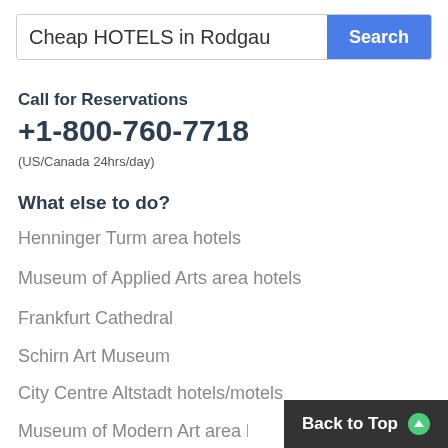Cheap HOTELS in Rodgau | Search
Call for Reservations
+1-800-760-7718
(US/Canada 24hrs/day)
What else to do?
Henninger Turm area hotels
Museum of Applied Arts area hotels
Frankfurt Cathedral
Schirn Art Museum
City Centre Altstadt hotels/motels
Museum of Modern Art area hotels
German Film Museum area hotels
Hotels close to German Architecture Museum
Back to Top